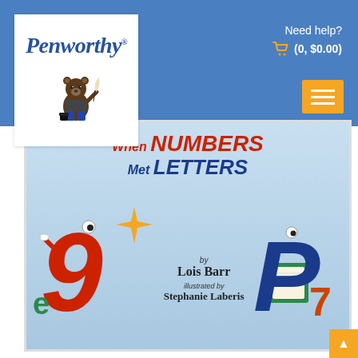[Figure (logo): Penworthy logo: blue cursive text 'Penworthy' with trademark symbol, bear mascot holding quill pen below]
Need help?
(0, $0.00)
[Figure (illustration): Hamburger menu button (orange background with three white horizontal lines)]
[Figure (illustration): Book cover: 'When NUMBERS Met LETTERS' by Lois Barr, illustrated by Stephanie Laberis. Features cartoon number 9 and letter P characters on light blue background.]